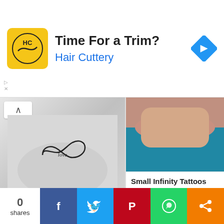[Figure (infographic): Hair Cuttery advertisement banner with logo, 'Time For a Trim?' headline, blue subtitle 'Hair Cuttery', and a blue navigation arrow icon]
[Figure (photo): Black and white photo of an infinity symbol with 'love' written inside it as a tattoo on a wrist/arm]
Astonishing Small Infinity Tattoos on Arm
See More
[Figure (photo): Close-up photo of a person's arm/forearm with skin tones against a teal/blue background]
Small Infinity Tattoos Design
See More
[Figure (photo): Photo of a hand with fingers extended against a light background]
[Figure (photo): Photo of two hands holding Starbucks cups with arrow tattoos on wrists, cups labeled 'Laura' and 'Indiana']
0 shares
[Figure (infographic): Social media share buttons: Facebook (blue), Twitter (light blue), Pinterest (red), WhatsApp (green), Share (orange)]